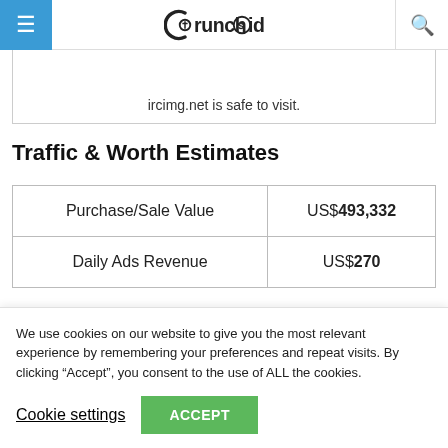CrunchOid
ircimg.net is safe to visit.
Traffic & Worth Estimates
| Purchase/Sale Value | US$493,332 |
| Daily Ads Revenue | US$270 |
We use cookies on our website to give you the most relevant experience by remembering your preferences and repeat visits. By clicking “Accept”, you consent to the use of ALL the cookies.
Cookie settings  ACCEPT